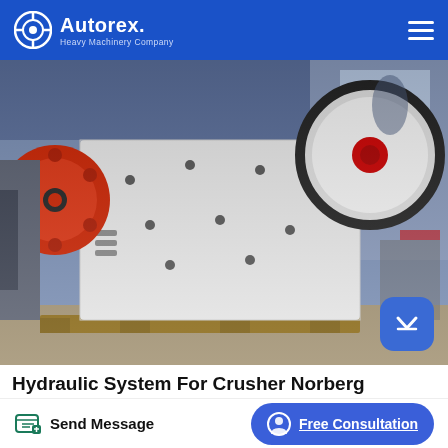Autorex Heavy Machinery Company
[Figure (photo): Industrial jaw crusher machine in a factory setting — large white metal body with red flywheels, mounted on wooden pallets inside a warehouse]
Hydraulic System For Crusher Norberg Mp1000
hydraulic system for crusher norberg mp1000 Hydraulic cone
Send Message
Free Consultation